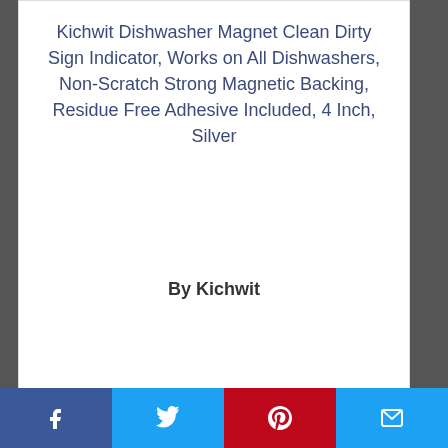Kichwit Dishwasher Magnet Clean Dirty Sign Indicator, Works on All Dishwashers, Non-Scratch Strong Magnetic Backing, Residue Free Adhesive Included, 4 Inch, Silver
By Kichwit
View Product
7.3 Score
Facebook Twitter Pinterest Email